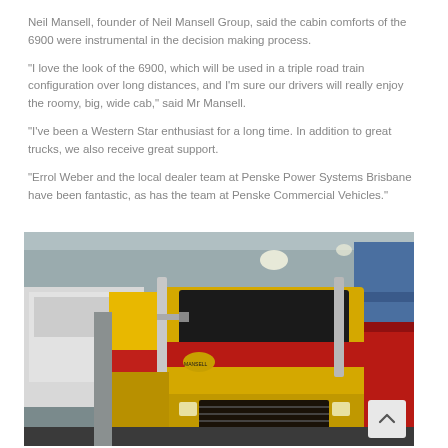Neil Mansell, founder of Neil Mansell Group, said the cabin comforts of the 6900 were instrumental in the decision making process.
“I love the look of the 6900, which will be used in a triple road train configuration over long distances, and I’m sure our drivers will really enjoy the roomy, big, wide cab,” said Mr Mansell.
“I’ve been a Western Star enthusiast for a long time. In addition to great trucks, we also receive great support.
“Errol Weber and the local dealer team at Penske Power Systems Brisbane have been fantastic, as has the team at Penske Commercial Vehicles.”
[Figure (photo): A yellow and red Western Star 6900 truck on display indoors at an exhibition or showroom. The truck has decorative red stripe livery and is viewed from the front-left angle.]